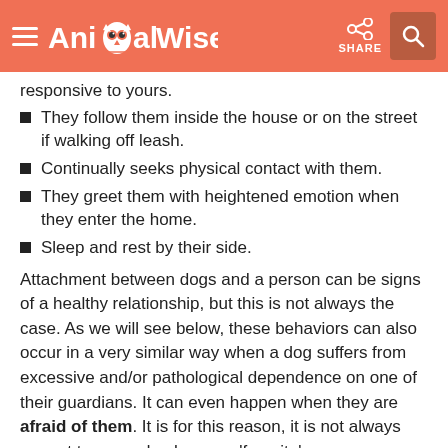AnimalWised
responsive to yours.
They follow them inside the house or on the street if walking off leash.
Continually seeks physical contact with them.
They greet them with heightened emotion when they enter the home.
Sleep and rest by their side.
Attachment between dogs and a person can be signs of a healthy relationship, but this is not always the case. As we will see below, these behaviors can also occur in a very similar way when a dog suffers from excessive and/or pathological dependence on one of their guardians. It can even happen when they are afraid of them. It is for this reason, it is not always correct to say a dog has one 'favorite'.